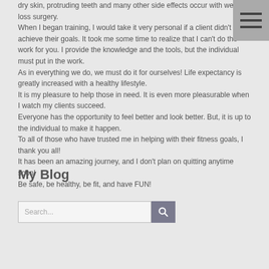dry skin, protruding teeth and many other side effects occur with weight loss surgery.
When I began training, I would take it very personal if a client didn't achieve their goals.  It took me some time to realize that I can't do the work for you.  I provide the knowledge and the tools, but the individual must put in the work.
As in everything we do, we must do it for ourselves!  Life expectancy is greatly increased with a healthy lifestyle.
It is my pleasure to help those in need.  It is even more pleasurable when I watch my clients succeed.
Everyone has the opportunity to feel better and look better.  But, it is up to the individual to make it happen.
To all of those who have trusted me in helping with their fitness goals, I thank you all!
It has been an amazing journey, and I don't plan on quitting anytime soon!
Be safe, be healthy, be fit, and have FUN!
My Blog
[Figure (other): Search box with a search button]